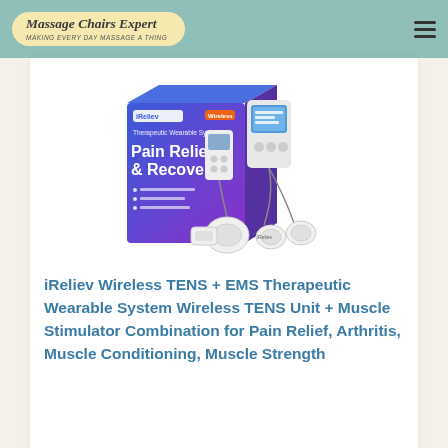Massage Chairs Expert
[Figure (photo): Product photo of iReliev Therapeutic Wearable System box with wireless TENS unit, muscle stimulator device with LCD screen, and electrode pads. Box is blue/purple with text 'Pain Relief & Recovery'.]
iReliev Wireless TENS + EMS Therapeutic Wearable System Wireless TENS Unit + Muscle Stimulator Combination for Pain Relief, Arthritis, Muscle Conditioning, Muscle Strength